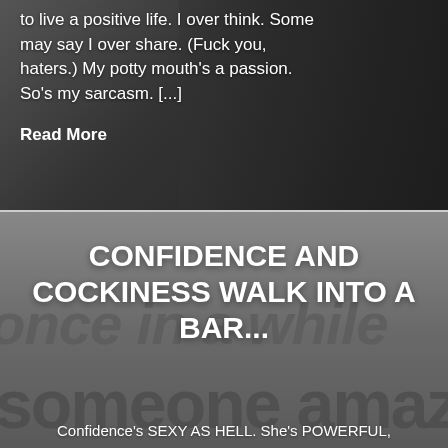to live a positive life. I over think. Some may say I over share. (Fuck you, haters.) My potty mouth's a passion. So's my sarcasm. [...]
Read More
[Figure (photo): Dark blurred background photo of a building or architectural structure]
CONFIDENCE AND COCKINESS WALK INTO A BAR...
Confidence's SEXY AS HELL. She's POWERFUL,